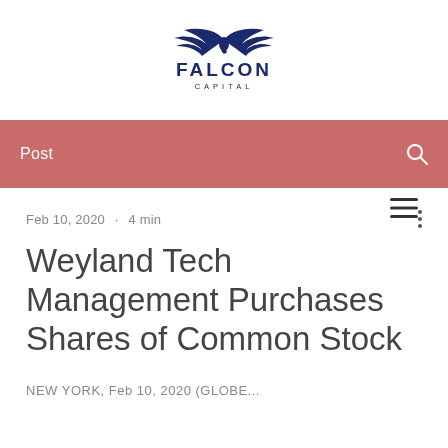[Figure (logo): Falcon Capital logo with stylized falcon/wings above text and company name]
[Figure (other): Hamburger menu icon (three horizontal lines)]
Post
Feb 10, 2020 · 4 min
Weyland Tech Management Purchases Shares of Common Stock
NEW YORK, Feb 10, 2020 (GLOBE...